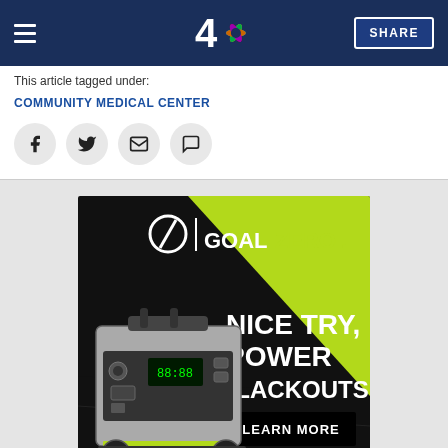4 NBC — SHARE
This article tagged under:
COMMUNITY MEDICAL CENTER
[Figure (infographic): GoalZero advertisement featuring the Yeti 3000X Home Backup System. Black and lime-green design with text: NICE TRY, POWER BLACKOUTS. LEARN MORE. The Yeti 3000X Home Backup System.]